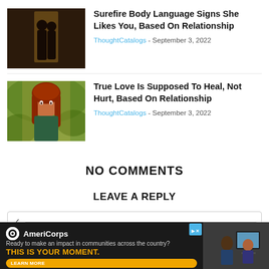[Figure (photo): Silhouette of two people standing close together near a window with warm light — romantic couple image]
Surefire Body Language Signs She Likes You, Based On Relationship
ThoughtCatalogs - September 3, 2022
[Figure (photo): Portrait of a young woman with long red hair in a natural outdoor setting, looking thoughtful]
True Love Is Supposed To Heal, Not Hurt, Based On Relationship
ThoughtCatalogs - September 3, 2022
NO COMMENTS
LEAVE A REPLY
[Figure (screenshot): AmeriCorps advertisement banner — logo, tagline 'Ready to make an impact in communities across the country?', 'THIS IS YOUR MOMENT.' in yellow, Learn More button, and image of people at computers on the right]